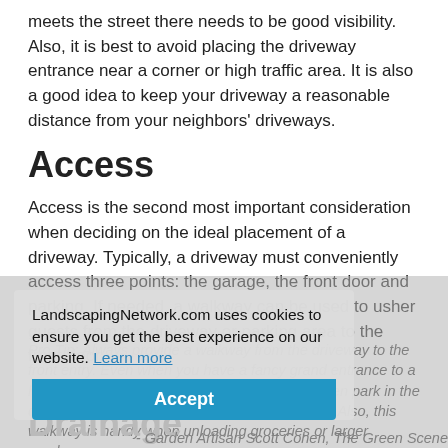meets the street there needs to be good visibility. Also, it is best to avoid placing the driveway entrance near a corner or high traffic area. It is also a good idea to keep your driveway a reasonable distance from your neighbors' driveways.
Access
Access is the second most important consideration when deciding on the ideal placement of a driveway. Typically, a driveway must conveniently access three points: the garage, the front door and parking. If needed, a walkway can be used to usher guests from the driveway or parking area to the front door.
Pro Tip: Always provide a walkway from the driveway to the front entry. Even when you have a fancy grand entrance to a home, the first guests that arrive to the party often park in the driveway, especially if they are family members. Also, this walkway is handy when unloading groceries or larger purchases.
- Garden Artisan Scott Cohen, The Green Scene
Drainage
LandscapingNetwork.com uses cookies to ensure you get the best experience on our website. Learn more
Accept